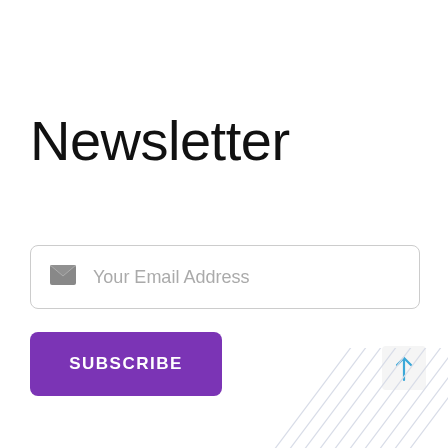Newsletter
[Figure (other): Email input field with envelope icon and placeholder text 'Your Email Address', bordered rounded rectangle]
SUBSCRIBE
[Figure (other): Back to top button with upward arrow icon in light gray box]
[Figure (other): Diagonal gray line pattern in bottom right corner]